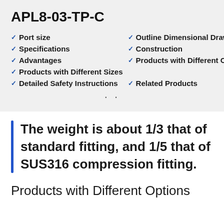APL8-03-TP-C
Port size
Outline Dimensional Drawing
Specifications
Construction
Advantages
Products with Different Options
Products with Different Sizes
Detailed Safety Instructions
Related Products
The weight is about 1/3 that of standard fitting, and 1/5 that of SUS316 compression fitting.
Products with Different Options